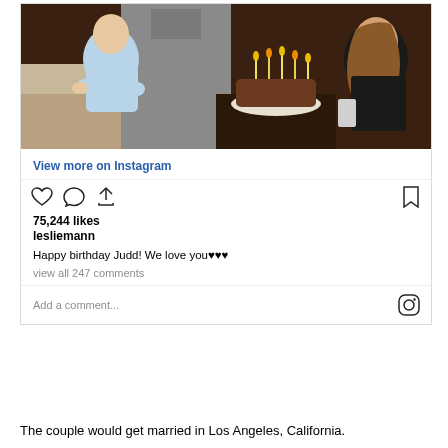[Figure (photo): Birthday scene with two children and an adult around a birthday cake with lit candles on a table]
View more on Instagram
75,244 likes
lesliemann
Happy birthday Judd! We love you♥♥♥
view all 247 comments
Add a comment...
The couple would get married in Los Angeles, California.